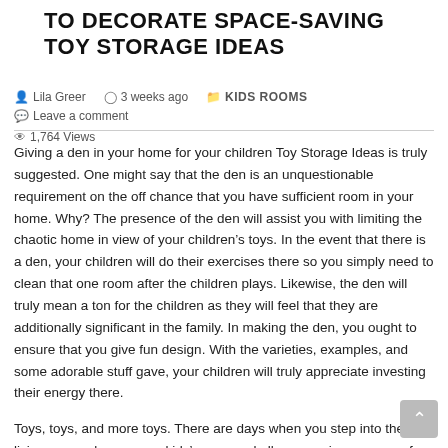TO DECORATE SPACE-SAVING TOY STORAGE IDEAS
Lila Greer   3 weeks ago   KIDS ROOMS   Leave a comment   1,764 Views
Giving a den in your home for your children Toy Storage Ideas is truly suggested. One might say that the den is an unquestionable requirement on the off chance that you have sufficient room in your home. Why? The presence of the den will assist you with limiting the chaotic home in view of your children's toys. In the event that there is a den, your children will do their exercises there so you simply need to clean that one room after the children plays. Likewise, the den will truly mean a ton for the children as they will feel that they are additionally significant in the family. In making the den, you ought to ensure that you give fun design. With the varieties, examples, and some adorable stuff gave, your children will truly appreciate investing their energy there.
Toys, toys, and more toys. There are days when you step into the living room, play area, or kids' room, and all you see is an ocean of toys all around that are spread everywhere. This obviously is much